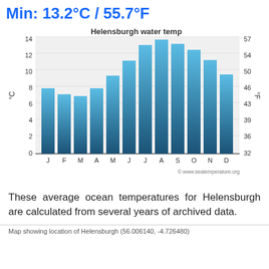Min: 13.2°C / 55.7°F
[Figure (bar-chart): Helensburgh water temp]
These average ocean temperatures for Helensburgh are calculated from several years of archived data.
Map showing location of Helensburgh (56.006140, -4.726480)